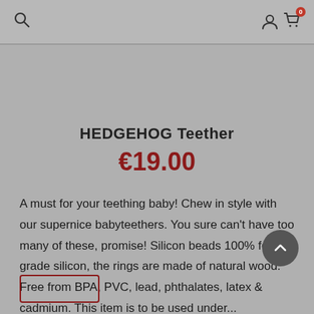Search | User | Cart (0)
HEDGEHOG Teether
€19.00
A must for your teething baby! Chew in style with our supernice babyteethers. You sure can't have too many of these, promise! Silicon beads 100% food grade silicon, the rings are made of natural wood. Free from BPA, PVC, lead, phthalates, latex & cadmium. This item is to be used under...